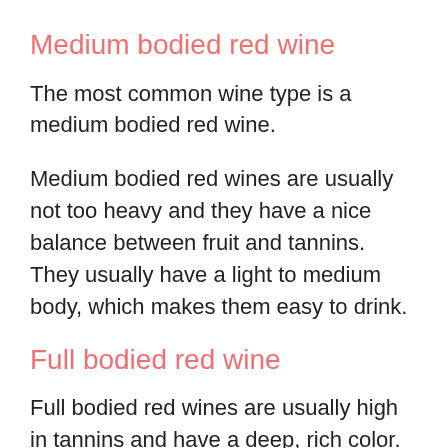Medium bodied red wine
The most common wine type is a medium bodied red wine.
Medium bodied red wines are usually not too heavy and they have a nice balance between fruit and tannins. They usually have a light to medium body, which makes them easy to drink.
Full bodied red wine
Full bodied red wines are usually high in tannins and have a deep, rich color. The tannins give them a nice and bitter taste